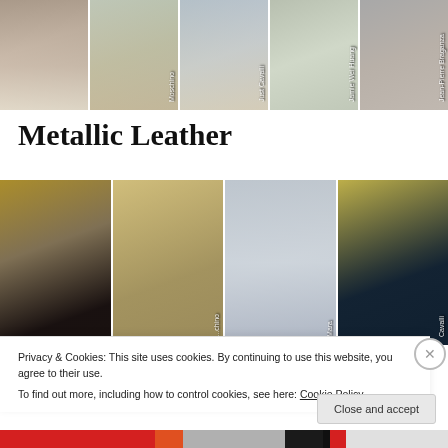[Figure (photo): Four fashion runway photos top strip: Moschino, Just Cavalli, Jamie Wei Huang, Jean-Pierre Braganza]
Metallic Leather
[Figure (photo): Four fashion runway photos bottom strip showing models in metallic leather outfits; labels partially visible: -chino, Mara, Cavalli]
Privacy & Cookies: This site uses cookies. By continuing to use this website, you agree to their use.
To find out more, including how to control cookies, see here: Cookie Policy
Close and accept